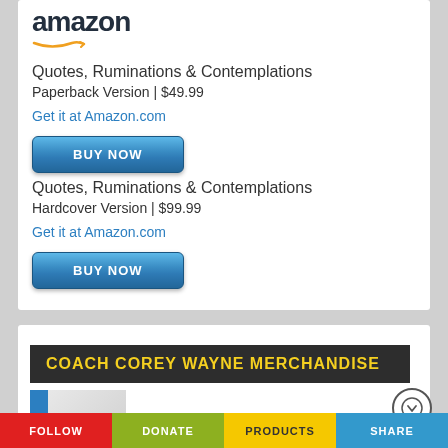[Figure (logo): Amazon logo with orange arrow swoosh]
Quotes, Ruminations & Contemplations
Paperback Version | $49.99
Get it at Amazon.com
BUY NOW
Quotes, Ruminations & Contemplations
Hardcover Version | $99.99
Get it at Amazon.com
BUY NOW
COACH COREY WAYNE MERCHANDISE
[Figure (photo): Merchandise product image partially visible]
FOLLOW   DONATE   PRODUCTS   SHARE